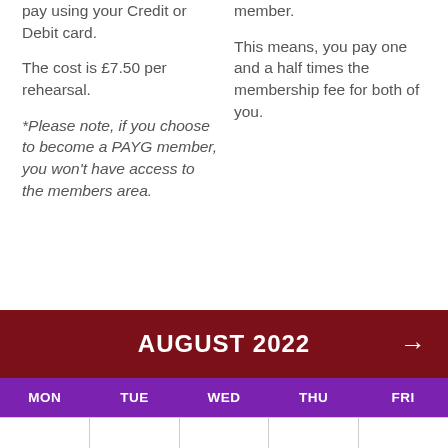pay using your Credit or Debit card.
The cost is £7.50 per rehearsal.
*Please note, if you choose to become a PAYG member, you won't have access to the members area.
member.
This means, you pay one and a half times the membership fee for both of you.
| MON | TUE | WED | THU | FRI |
| --- | --- | --- | --- | --- |
|  |  |  |  |  |